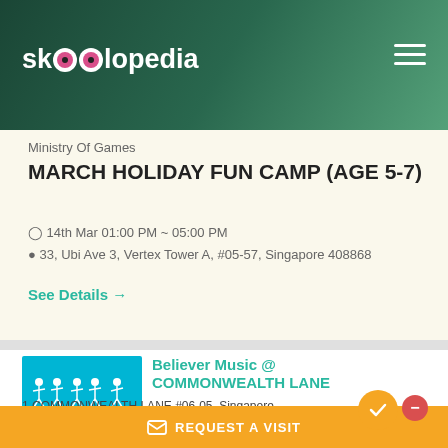[Figure (logo): Skoolopedia website header with logo and hamburger menu on dark green background]
Ministry Of Games
MARCH HOLIDAY FUN CAMP (AGE 5-7)
14th Mar 01:00 PM ~ 05:00 PM
33, Ubi Ave 3, Vertex Tower A, #05-57, Singapore 408868
See Details →
[Figure (logo): Believer Music logo on blue background with musical figures and text BELIEVERmusic]
Believer Music @ COMMONWEALTH LANE
1 COMMONWEALTH LANE #06-05, Singapore 149544